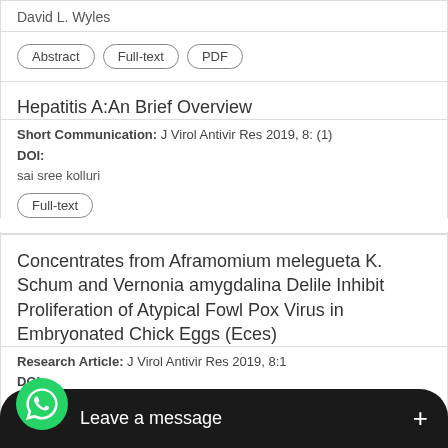David L. Wyles
Abstract | Full-text | PDF
Hepatitis A:An Brief Overview
Short Communication: J Virol Antivir Res 2019, 8: (1)
DOI:
sai sree kolluri
Full-text
Concentrates from Aframomium melegueta K. Schum and Vernonia amygdalina Delile Inhibit Proliferation of Atypical Fowl Pox Virus in Embryonated Chick Eggs (Eces)
Research Article: J Virol Antivir Res 2019, 8:1
DOI:
Afolami OI, Oladunmoye MK, Chukwuedo AA, Asala OO, ¼bo IO, Oladejo BO, Abe TO, Akpa AR, Aribisala JO and ¼mi OO